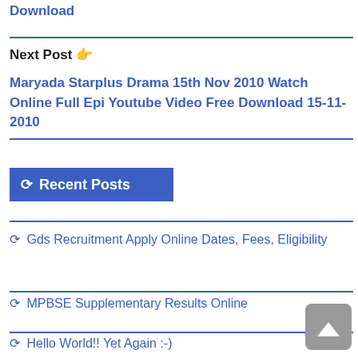Download
Next Post 👉
Maryada Starplus Drama 15th Nov 2010 Watch Online Full Epi Youtube Video Free Download 15-11-2010
↻ Recent Posts
↻ Gds Recruitment Apply Online Dates, Fees, Eligibility
↻ MPBSE Supplementary Results Online
↻ Hello World!! Yet Again :-)